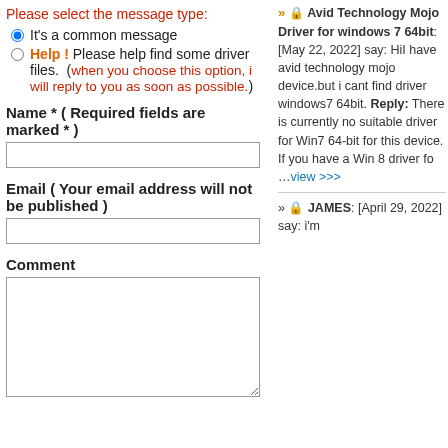Please select the message type:
It's a common message
Help ! Please help find some driver files. (when you choose this option, i will reply to you as soon as possible.)
Name * ( Required fields are marked * )
Email ( Your email address will not be published )
Comment
» 🔒 Avid Technology Mojo Driver for windows 7 64bit: [May 22, 2022] say: HiI have avid technology mojo device.but i cant find driver windows7 64bit. Reply: There is currently no suitable driver for Win7 64-bit for this device. If you have a Win 8 driver fo …view >>>
» 🔒 JAMES: [April 29, 2022] say: i'm